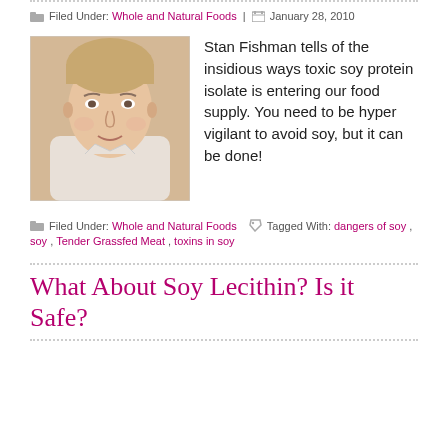Filed Under: Whole and Natural Foods | January 28, 2010
[Figure (photo): Headshot photo of Stan Fishman, a middle-aged man with blond hair, smiling, wearing a white shirt]
Stan Fishman tells of the insidious ways toxic soy protein isolate is entering our food supply. You need to be hyper vigilant to avoid soy, but it can be done!
Filed Under: Whole and Natural Foods | Tagged With: dangers of soy, soy, Tender Grassfed Meat, toxins in soy
What About Soy Lecithin? Is it Safe?